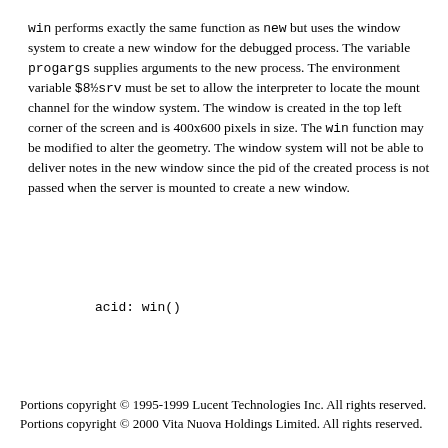win performs exactly the same function as new but uses the window system to create a new window for the debugged process. The variable progargs supplies arguments to the new process. The environment variable $8½srv must be set to allow the interpreter to locate the mount channel for the window system. The window is created in the top left corner of the screen and is 400x600 pixels in size. The win function may be modified to alter the geometry. The window system will not be able to deliver notes in the new window since the pid of the created process is not passed when the server is mounted to create a new window.
acid: win()
Portions copyright © 1995-1999 Lucent Technologies Inc. All rights reserved.
Portions copyright © 2000 Vita Nuova Holdings Limited. All rights reserved.